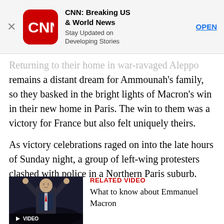[Figure (screenshot): CNN Breaking US & World News app advertisement banner with CNN red logo, app name, tagline 'Stay Updated on Developing Stories', and OPEN button]
Returning to their home in war-ravaged Aleppo remains a distant dream for Ammounah’s family, so they basked in the bright lights of Macron’s win in their new home in Paris. The win to them was a victory for France but also felt uniquely theirs.
As victory celebrations raged on into the late hours of Sunday night, a group of left-wing protesters clashed with police in a Northern Paris suburb.
[Figure (photo): Emmanuel Macron with arms raised, photo thumbnail for related video]
RELATED VIDEO
What to know about Emmanuel Macron
When asked about the protests, Macron supporter